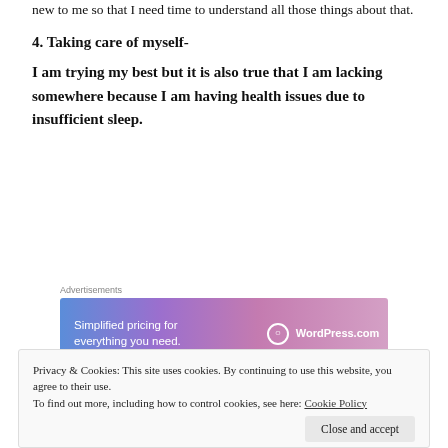new to me so that I need time to understand all those things about that.
4. Taking care of myself-
I am trying my best but it is also true that I am lacking somewhere because I am having health issues due to insufficient sleep.
Advertisements
[Figure (other): WordPress.com advertisement banner: 'Simplified pricing for everything you need.' with WordPress.com logo]
REPORT THIS AD
Privacy & Cookies: This site uses cookies. By continuing to use this website, you agree to their use. To find out more, including how to control cookies, see here: Cookie Policy
Close and accept